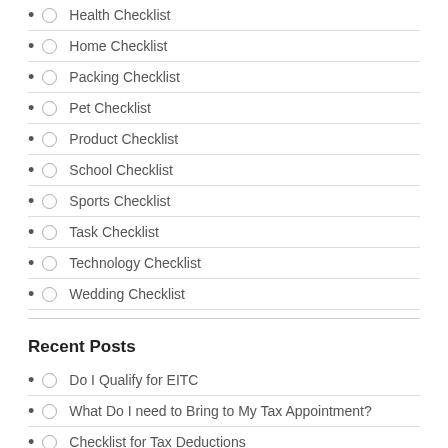Health Checklist
Home Checklist
Packing Checklist
Pet Checklist
Product Checklist
School Checklist
Sports Checklist
Task Checklist
Technology Checklist
Wedding Checklist
Recent Posts
Do I Qualify for EITC
What Do I need to Bring to My Tax Appointment?
Checklist for Tax Deductions